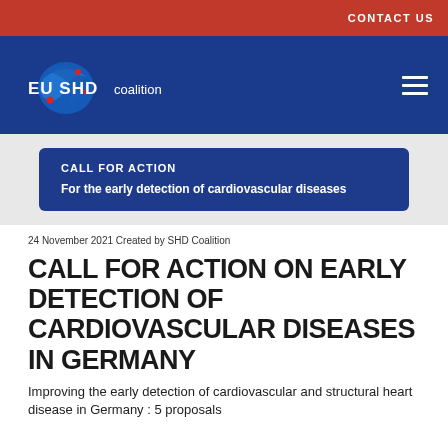CONTACT US
[Figure (logo): EU SHD coalition logo with blue circular graphic and red dots, on dark blue navigation bar with hamburger menu icon]
[Figure (infographic): Dark blue rounded rectangle banner reading 'CALL FOR ACTION / For the early detection of cardiovascular diseases']
24 November 2021 Created by SHD Coalition
CALL FOR ACTION ON EARLY DETECTION OF CARDIOVASCULAR DISEASES IN GERMANY
Improving the early detection of cardiovascular and structural heart disease in Germany : 5 proposals